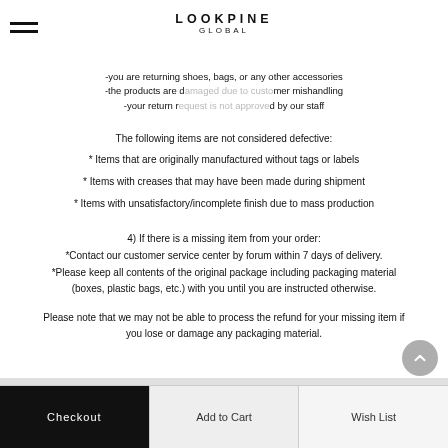LOOKPINE GLOBAL
-you are returning shoes, bags, or any other accessories
-the products are d[amaged due to custo]mer mishandling
-your return r[equest is not approve]d by our staff
The following items are not considered defective:
* Items that are originally manufactured without tags or labels
* Items with creases that may have been made during shipment
* Items with unsatisfactory/incomplete finish due to mass production
4) If there is a missing item from your order:
*Contact our customer service center by forum within 7 days of delivery.
*Please keep all contents of the original package including packaging material (boxes, plastic bags, etc.) with you until you are instructed otherwise.
Please note that we may not be able to process the refund for your missing item if you lose or damage any packaging material.
Checkout | Add to Cart | Wish List